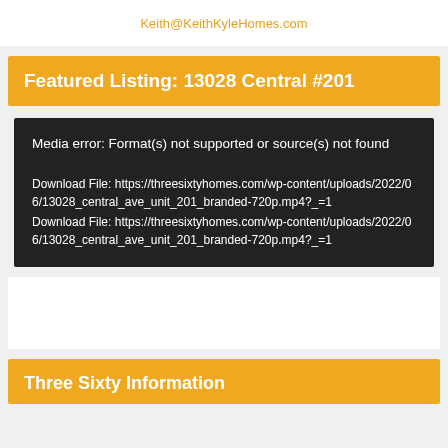Keith@KeithKyleHomes.com
Featured Listing: 13028 Central #201
[Figure (screenshot): Media error box with dark background showing: 'Media error: Format(s) not supported or source(s) not found' and two Download File links to https://threesixtyhomes.com/wp-content/uploads/2022/06/13028_central_ave_unit_201_branded-720p.mp4?_=1]
Three Sixty Information